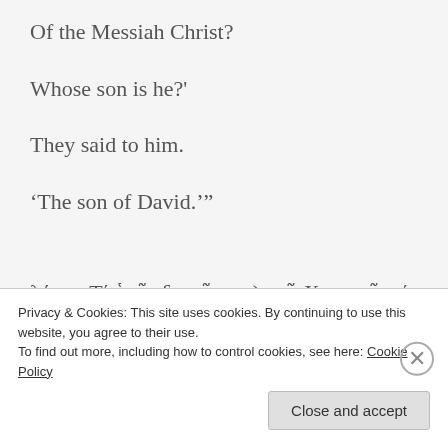Of the Messiah Christ?
Whose son is he?'
They said to him.
‘The son of David.’”
λέγων Τί ὑμίν δοκεῖ περι) τοῦ Χριστοῦ; τίνος υἱός
Privacy & Cookies: This site uses cookies. By continuing to use this website, you agree to their use.
To find out more, including how to control cookies, see here: Cookie Policy